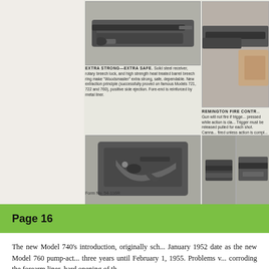[Figure (photo): Photo of a rifle - Woodsmaster shotgun/rifle top view, center column top]
EXTRA STRONG—EXTRA SAFE. Solid steel receiver, rotary breech lock, and high strength heat treated barrel breech ring make "Woodsmaster" extra strong, safe, dependable. New extraction principle (successfully proved on famous Models 721, 722 and 760), positive side ejection. Fore-end is reinforced by metal liner.
[Figure (photo): Photo of a person holding a rifle - right column top]
REMINGTON FIRE CONTR... Gun will not fire if trigger pressed while action is cla... Trigger must be released pulled for each shot. Canna... fired unless action is compl... closed and securely locked an important safety feature.
[Figure (photo): Photo of trigger mechanism assembly - center column bottom]
EXCEPTIONAL TRIGGER MECHANISM . . . smooth and crisp. Convenient, positive cross-bolt safety . . . less susceptible to accidental movement or breakage. Trigger assembly is easily removed for cleaning.
[Figure (photo): Photo of sighting mechanism parts - right column bottom, two partial images]
IMPROVED SIGHTING. R... type front sight and impro... semi-buckhorn type step ad... able rear sight provide q... easy sighting. Receiver dr... and tapped for telescope mo...
Form No. 54-116R
Page 16
The new Model 740's introduction, originally sch... January 1952 date as the new Model 760 pump-act... three years until February 1, 1955. Problems v... corroding the forearm liner, hard opening of th...